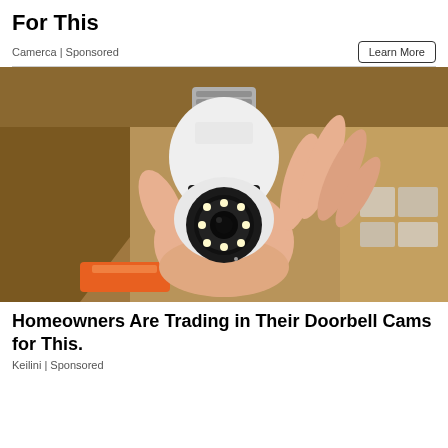For This
Camerca | Sponsored
Learn More
[Figure (photo): A hand holding a white light-bulb-shaped security camera with a visible lens and LED ring, set against a cardboard box background with an orange power tool visible at the bottom.]
Homeowners Are Trading in Their Doorbell Cams for This.
Keilini | Sponsored